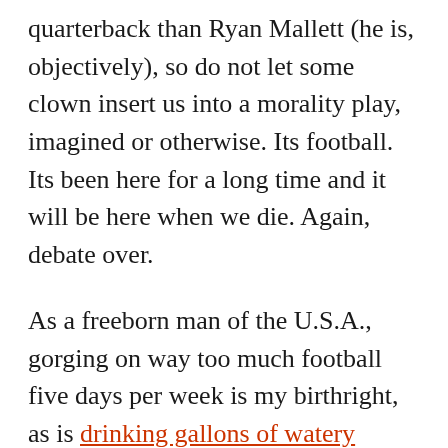quarterback than Ryan Mallett (he is, objectively), so do not let some clown insert us into a morality play, imagined or otherwise. Its football. Its been here for a long time and it will be here when we die. Again, debate over.

As a freeborn man of the U.S.A., gorging on way too much football five days per week is my birthright, as is drinking gallons of watery domestic beer in 12 to 14 hour stretches every Saturday and Sunday. Americans of every gender, ethnicity and age wait with bated